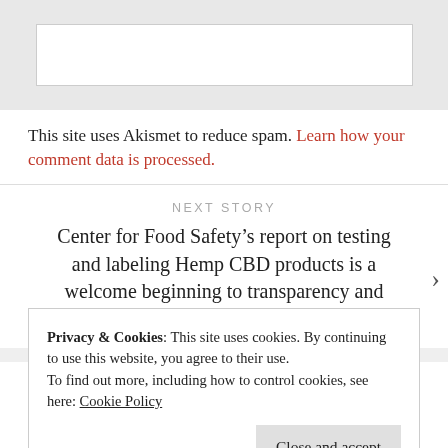[Figure (other): White input box on grey background — top of page comment/form area]
This site uses Akismet to reduce spam. Learn how your comment data is processed.
NEXT STORY
Center for Food Safety’s report on testing and labeling Hemp CBD products is a welcome beginning to transparency and truth for a largely unregulated industry.
Privacy & Cookies: This site uses cookies. By continuing to use this website, you agree to their use.
To find out more, including how to control cookies, see here: Cookie Policy
Close and accept
about.